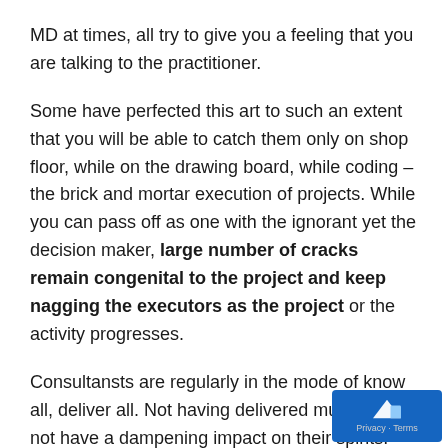MD at times, all try to give you a feeling that you are talking to the practitioner.
Some have perfected this art to such an extent that you will be able to catch them only on shop floor, while on the drawing board, while coding – the brick and mortar execution of projects. While you can pass off as one with the ignorant yet the decision maker, large number of cracks remain congenital to the project and keep nagging the executors as the project or the activity progresses.
Consultansts are regularly in the mode of know all, deliver all. Not having delivered much does not have a dampening impact on their spirits. They would have been chided earlier for non delivery but the chance of cash registers ringing again emboldens them to commit the same mistake again. In the first place it is not a mistake for them. If they don't do